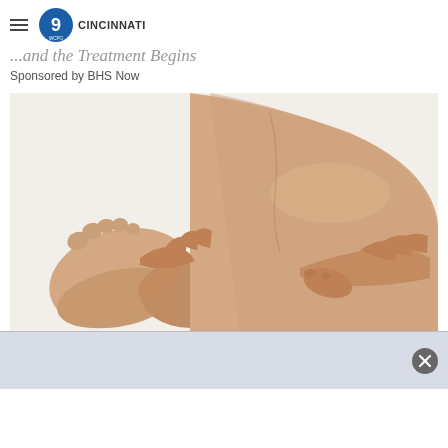WCPO 9 Cincinnati
...and the Treatment Begins
Sponsored by BHS Now
[Figure (photo): Hands massaging or examining a person's ankle and lower leg area, with a bare foot visible, against a white background. Medical/physical therapy context.]
[Figure (screenshot): Bottom advertisement/overlay bar with dark background and a close (X) button on the right side.]